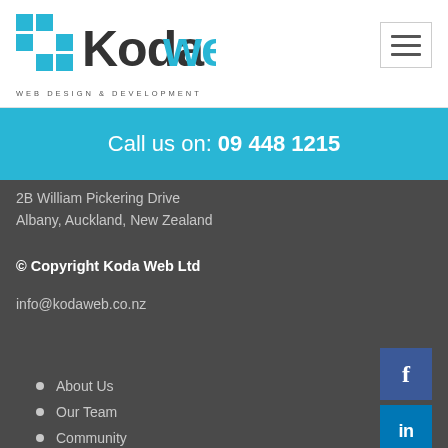[Figure (logo): Kodaweb logo with cyan/blue grid icon and stylized text 'Kodaweb', tagline 'WEB DESIGN & DEVELOPMENT']
[Figure (other): Hamburger menu button (three horizontal lines) in a square border]
Call us on: 09 448 1215
2B William Pickering Drive
Albany, Auckland, New Zealand
© Copyright Koda Web Ltd
info@kodaweb.co.nz
[Figure (logo): Facebook social icon button (blue square with white f)]
[Figure (logo): LinkedIn social icon button (cyan square with white 'in')]
About Us
Our Team
Community